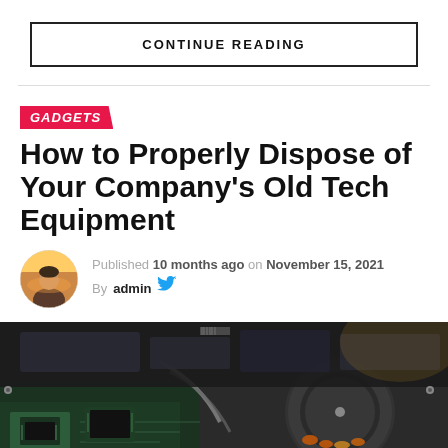CONTINUE READING
GADGETS
How to Properly Dispose of Your Company's Old Tech Equipment
Published 10 months ago on November 15, 2021
By admin
[Figure (photo): Pile of old computer hardware including circuit boards, hard drives, and electronic components viewed from above]